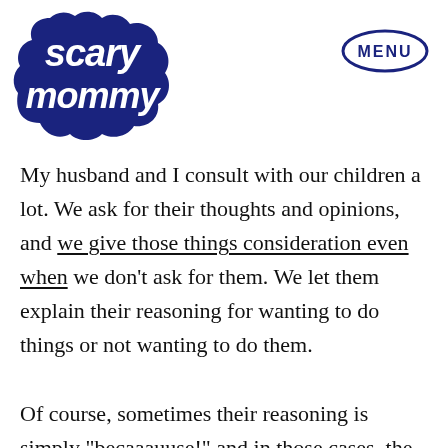Scary Mommy | MENU
My husband and I consult with our children a lot. We ask for their thoughts and opinions, and we give those things consideration even when we don't ask for them. We let them explain their reasoning for wanting to do things or not wanting to do them.

Of course, sometimes their reasoning is simply “becaaauuse!” and in those cases, the consultation stops until they can formulate a reasonable argument. But we do let them argue as long as they’re respectful about it and listen